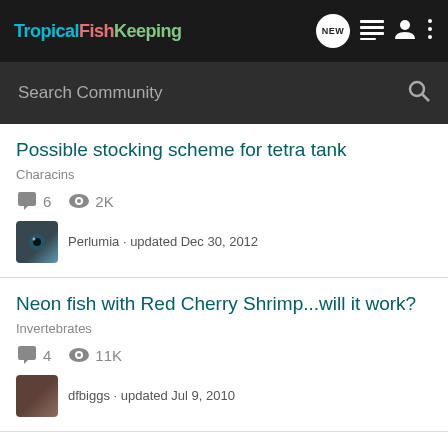TropicalFishKeeping
Search Community
Possible stocking scheme for tetra tank
Characins
6  2K
Perlumia · updated Dec 30, 2012
Neon fish with Red Cherry Shrimp...will it work?
Invertebrates
4  11K
dfbiggs · updated Jul 9, 2010
Oto the way to go?
Catfish